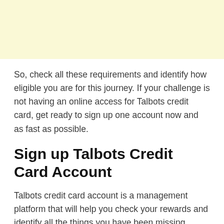[Figure (other): Light yellow/cream colored rectangular block at the top of the page]
So, check all these requirements and identify how eligible you are for this journey. If your challenge is not having an online access for Talbots credit card, get ready to sign up one account now and as fast as possible.
Sign up Talbots Credit Card Account
Talbots credit card account is a management platform that will help you check your rewards and identify all the things you have been missing. Being able to swap your